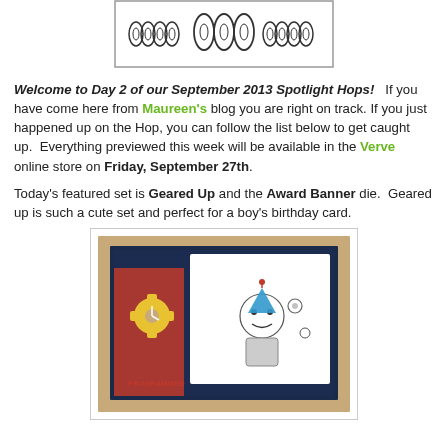[Figure (illustration): Black and white line art stamp image showing decorative teardrop/swirl shapes arranged in a row, framed by a rectangle border.]
Welcome to Day 2 of our September 2013 Spotlight Hops! If you have come here from Maureen's blog you are right on track. If you just happened up on the Hop, you can follow the list below to get caught up. Everything previewed this week will be available in the Verve online store on Friday, September 27th.
Today's featured set is Geared Up and the Award Banner die. Geared up is such a cute set and perfect for a boy's birthday card.
[Figure (photo): Photo of a handmade birthday card featuring a robot character wearing a party hat, with a large yellow gear embellishment on the left side, on a kraft/tan background. The card reads 'PROGRAMMED' at the bottom.]